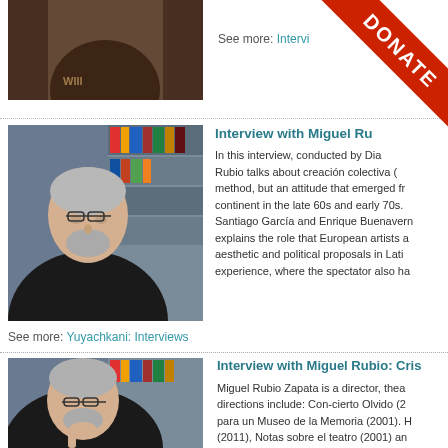[Figure (photo): Partial photo of a person in dark clothing, cropped at top]
See more: Intervi...
[Figure (photo): Photo of Miguel Rubio, an older man with gray hair, glasses, beard, wearing a dark jacket, seated in front of bookshelves]
Interview with Miguel Ru...
In this interview, conducted by Dia... Rubio talks about creación colectiva (... method, but an attitude that emerged fr... continent in the late 60s and early 70s.... Santiago García and Enrique Buenaven... explains the role that European artists a... aesthetic and political proposals in Lati... experience, where the spectator also ha...
See more: Yuyachkani: Interviews
[Figure (photo): Photo of Miguel Rubio, same man with glasses, beard, resting chin on hand, in front of bookshelves]
Interview with Miguel Rubio: Cris...
Miguel Rubio Zapata is a director, thea... directions include: Con-cierto Olvido (2... para un Museo de la Memoria (2001). H... (2011), Notas sobre el teatro (2001) an... Hemispheric Institute of Performance a...